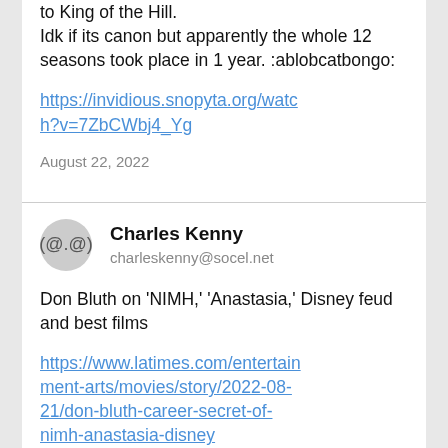to King of the Hill. Idk if its canon but apparently the whole 12 seasons took place in 1 year. :ablobcatbongo:
https://invidious.snopyta.org/watch?v=7ZbCWbj4_Yg
August 22, 2022
Charles Kenny charleskenny@socel.net
Don Bluth on 'NIMH,' 'Anastasia,' Disney feud and best films
https://www.latimes.com/entertainment-arts/movies/story/2022-08-21/don-bluth-career-secret-of-nimh-anastasia-disney